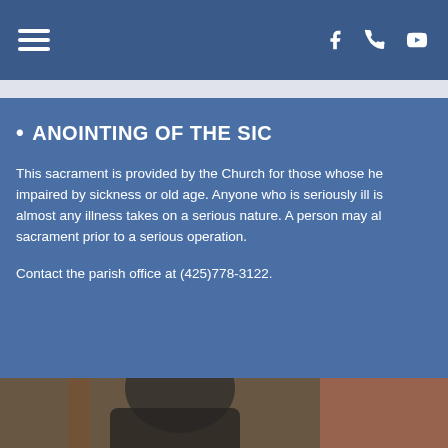Navigation bar with hamburger menu and social icons (Facebook, phone, YouTube)
• ANOINTING OF THE SICK
This sacrament is provided by the Church for those whose health is impaired by sickness or old age. Anyone who is seriously ill is eligible; almost any illness takes on a serious nature. A person may also receive this sacrament prior to a serious operation.
Contact the parish office at (425)778-3122.
[Figure (photo): Blurred photo showing a person wearing dark clothing, possibly a priest or religious figure]